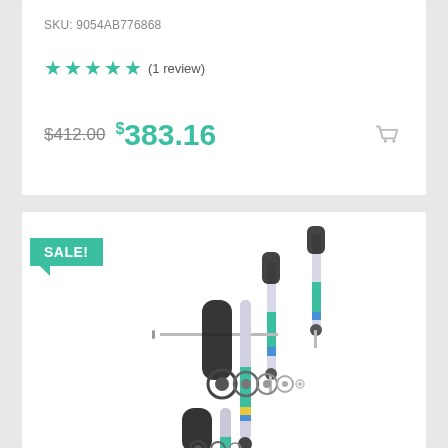SKU: 9054AB776868
★★★★★ (1 review)
$412.00  $383.16
[Figure (photo): Product photo of Bilstein shock absorbers set with mounting hardware, showing three shock absorbers with black boots and teal/blue accent, plus mounting washers. A green SALE! badge overlays the top-left corner.]